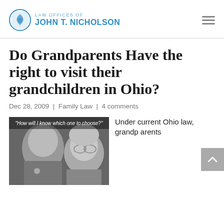LAW OFFICES OF JOHN T. NICHOLSON
Do Grandparents Have the right to visit their grandchildren in Ohio?
Dec 28, 2009 | Family Law | 4 comments
[Figure (photo): Black and white photo of a young child and an elderly woman with glasses, with overlay text: "How will I know which one to choose?"]
Under current Ohio law, grandparents